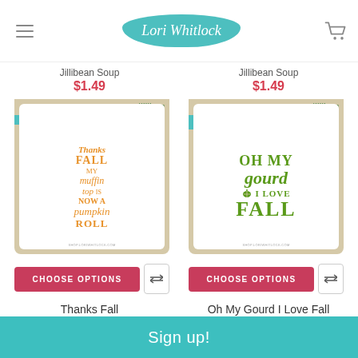Lori Whitlock
Jillibean Soup
$1.49
Jillibean Soup
$1.49
[Figure (illustration): Digital cutting file product card with orange script text: Thanks FALL my muffin top is now a pumpkin ROLL - Jillibean Soup branding]
[Figure (illustration): Digital cutting file product card with olive green bold text: OH MY gourd I LOVE FALL with pumpkin icon - Jillibean Soup branding]
CHOOSE OPTIONS
CHOOSE OPTIONS
Thanks Fall
Oh My Gourd I Love Fall
Sign up!